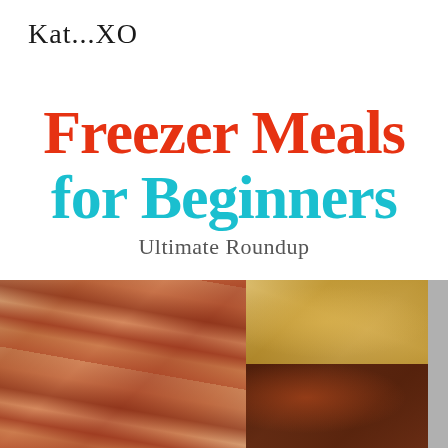Kat...XO
Freezer Meals for Beginners Ultimate Roundup
[Figure (photo): Stack of frozen meal bags in vacuum-sealed plastic on the left; Mexican food/tacos on a plate on the upper right; colorful food dish on the lower right]